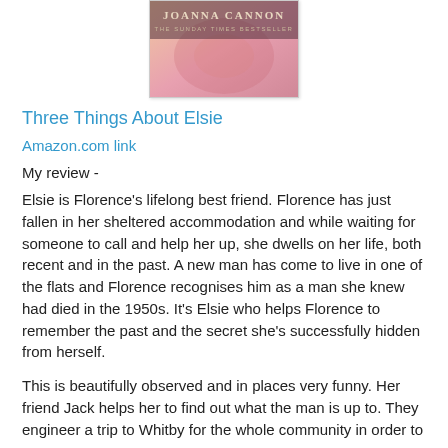[Figure (illustration): Book cover for 'Three Things About Elsie' by Joanna Cannon, The Sunday Times Bestseller, showing a pink and yellow illustrated cover]
Three Things About Elsie
Amazon.com link
My review -
Elsie is Florence's lifelong best friend. Florence has just fallen in her sheltered accommodation and while waiting for someone to call and help her up, she dwells on her life, both recent and in the past. A new man has come to live in one of the flats and Florence recognises him as a man she knew had died in the 1950s. It's Elsie who helps Florence to remember the past and the secret she's successfully hidden from herself.
This is beautifully observed and in places very funny. Her friend Jack helps her to find out what the man is up to. They engineer a trip to Whitby for the whole community in order to